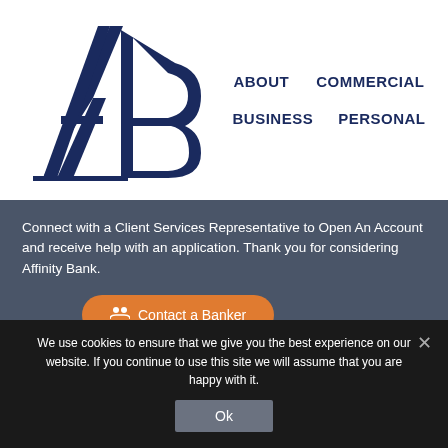[Figure (logo): Affinity Bank AB logo — large serif AB monogram in dark navy blue]
ABOUT
COMMERCIAL
BUSINESS
PERSONAL
Connect with a Client Services Representative to Open An Account and receive help with an application. Thank you for considering Affinity Bank.
Contact a Banker
We use cookies to ensure that we give you the best experience on our website. If you continue to use this site we will assume that you are happy with it.
Ok